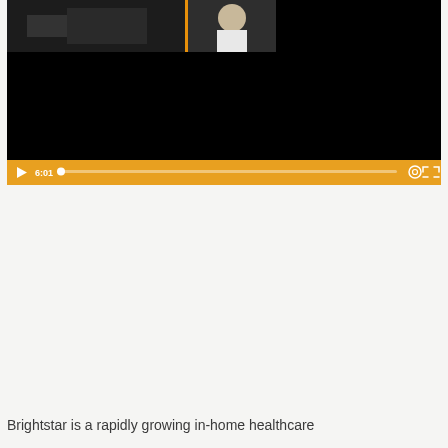[Figure (screenshot): A video player screenshot showing a paused video with a dark/black screen. The video has thumbnail strips at the top — one dark strip on the left separated by an orange vertical bar, and a lighter thumbnail on the right showing a person in a white shirt. The video controls bar at the bottom is orange/amber colored, showing a play button (triangle), timestamp '6:01', a progress bar with a white dot at the beginning, a settings gear icon, and a fullscreen icon.]
Brightstar is a rapidly growing in-home healthcare